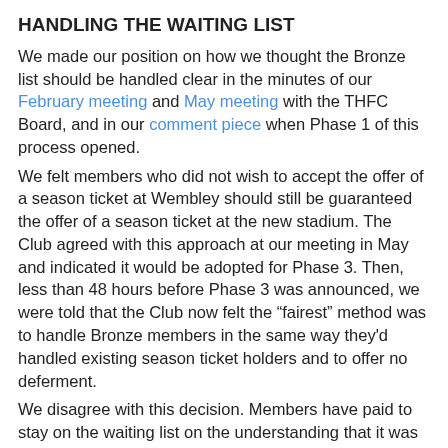HANDLING THE WAITING LIST
We made our position on how we thought the Bronze list should be handled clear in the minutes of our February meeting and May meeting with the THFC Board, and in our comment piece when Phase 1 of this process opened.
We felt members who did not wish to accept the offer of a season ticket at Wembley should still be guaranteed the offer of a season ticket at the new stadium. The Club agreed with this approach at our meeting in May and indicated it would be adopted for Phase 3. Then, less than 48 hours before Phase 3 was announced, we were told that the Club now felt the “fairest” method was to handle Bronze members in the same way they'd handled existing season ticket holders and to offer no deferment.
We disagree with this decision. Members have paid to stay on the waiting list on the understanding that it was for a ticket at our home stadium in Tottenham. While Wembley was the preferred choice for the Club’s year away from N17, we knew there would be practical difficulties for a proportion of members getting to Wembley next season.
We also disagree with the decision to offer no sabbatical for existing season ticket holders to disagree with the view that the effect...